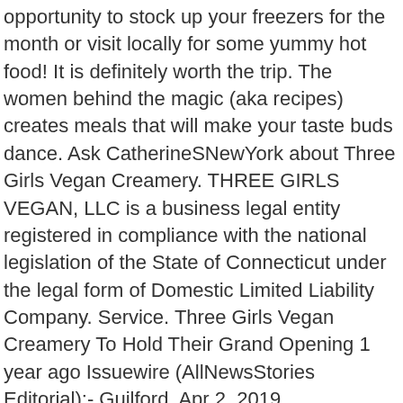opportunity to stock up your freezers for the month or visit locally for some yummy hot food! It is definitely worth the trip. The women behind the magic (aka recipes) creates meals that will make your taste buds dance. Ask CatherineSNewYork about Three Girls Vegan Creamery. THREE GIRLS VEGAN, LLC is a business legal entity registered in compliance with the national legislation of the State of Connecticut under the legal form of Domestic Limited Liability Company. Service. Three Girls Vegan Creamery To Hold Their Grand Opening 1 year ago Issuewire (AllNewsStories Editorial):- Guilford, Apr 2, 2019 (Issuewire.com) – Three Girls Vegan Creamery, a vibrant plant-based new eatery at 645 Boston Post Road in Guilford, CT specializes in organic Italian-style dairy-free cheeses, meat-less meats, and vegan desserts. Hier sollte eine Beschreibung